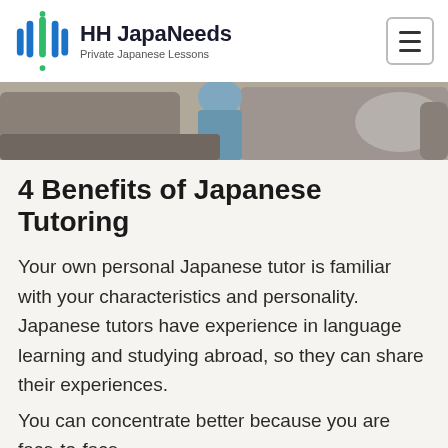HH JapaNeeds Private Japanese Lessons
[Figure (photo): Partial view of a sofa/couch in a living room setting, showing grey cushions and a person seated]
4 Benefits of Japanese Tutoring
Your own personal Japanese tutor is familiar with your characteristics and personality. Japanese tutors have experience in language learning and studying abroad, so they can share their experiences.
You can concentrate better because you are face-to-face.
You'll be motivated because you'll be praised